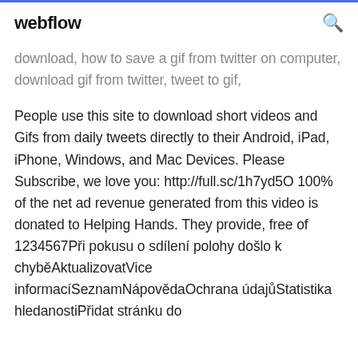webflow
download, how to save a gif from twitter on computer, download gif from twitter, tweet to gif,
People use this site to download short videos and Gifs from daily tweets directly to their Android, iPad, iPhone, Windows, and Mac Devices. Please Subscribe, we love you: http://full.sc/1h7yd5O 100% of the net ad revenue generated from this video is donated to Helping Hands. They provide, free of 1234567Při pokusu o sdílení polohy došlo k chyběAktualizovatVice informacíSeznamNápovědaOchrana údajůStatistika hledanostiPřidat stránku do